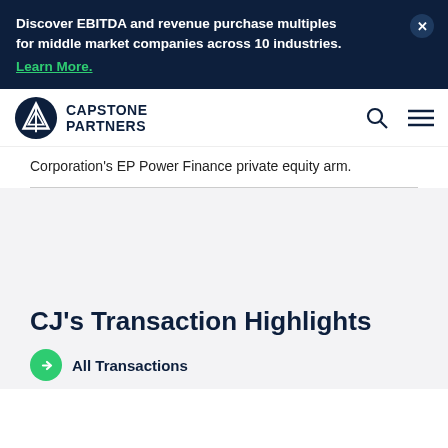Discover EBITDA and revenue purchase multiples for middle market companies across 10 industries.
Learn More.
[Figure (logo): Capstone Partners logo with mountain/triangle icon]
Corporation's EP Power Finance private equity arm.
CJ's Transaction Highlights
All Transactions